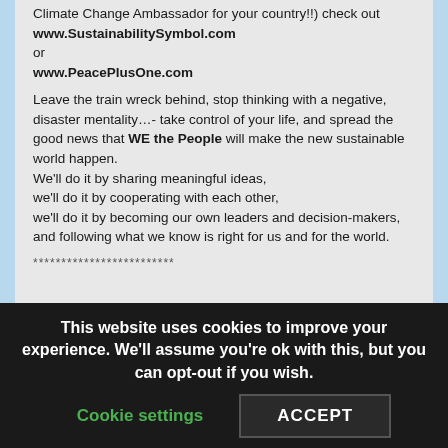Climate Change Ambassador for your country!!) check out www.SustainabilitySymbol.com or www.PeacePlusOne.com
Leave the train wreck behind, stop thinking with a negative, disaster mentality…- take control of your life, and spread the good news that WE the People will make the new sustainable world happen. We'll do it by sharing meaningful ideas, we'll do it by cooperating with each other, we'll do it by becoming our own leaders and decision-makers, and following what we know is right for us and for the world.
*************************
This website uses cookies to improve your experience. We'll assume you're ok with this, but you can opt-out if you wish.